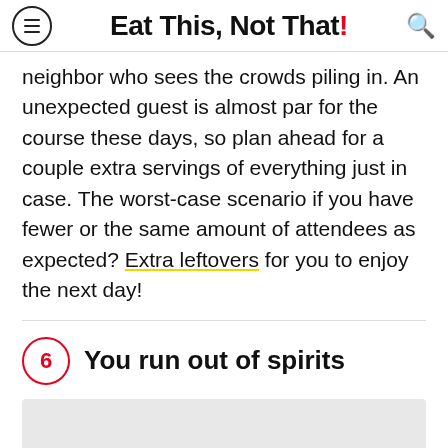Eat This, Not That!
neighbor who sees the crowds piling in. An unexpected guest is almost par for the course these days, so plan ahead for a couple extra servings of everything just in case. The worst-case scenario if you have fewer or the same amount of attendees as expected? Extra leftovers for you to enjoy the next day!
6 You run out of spirits
[Figure (photo): Gray placeholder image area]